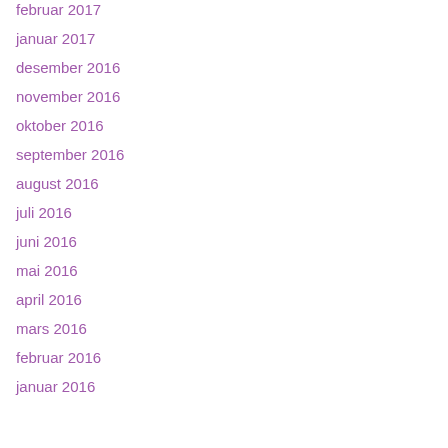februar 2017
januar 2017
desember 2016
november 2016
oktober 2016
september 2016
august 2016
juli 2016
juni 2016
mai 2016
april 2016
mars 2016
februar 2016
januar 2016